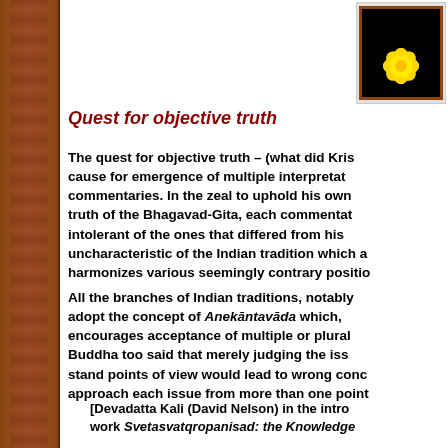[Figure (logo): Yellow lotus flower on black background with brown border]
Quest for objective truth
The quest for objective truth – (what did Kris cause for emergence of multiple interpretat commentaries. In the zeal to uphold his own truth of the Bhagavad-Gita, each commentat intolerant of the ones that differed from his uncharacteristic of the Indian tradition which a harmonizes various seemingly contrary positio
All the branches of Indian traditions, notably adopt the concept of Anekāntavāda which, encourages acceptance of multiple or plural Buddha too said that merely judging the iss stand points of view would lead to wrong conc approach each issue from more than one point
[Devadatta Kali (David Nelson) in the intro work Svetasvatqropanisad: the Knowledge